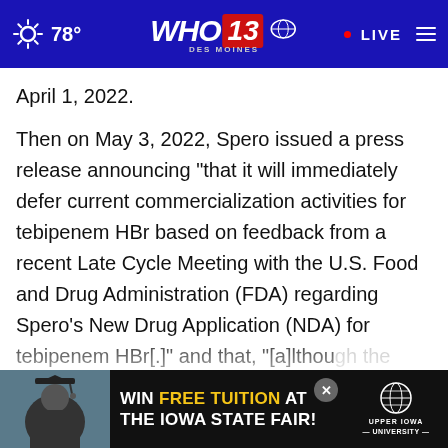WHO 13 DES MOINES — 78° — LIVE
April 1, 2022.
Then on May 3, 2022, Spero issued a press release announcing "that it will immediately defer current commercialization activities for tebipenem HBr based on feedback from a recent Late Cycle Meeting with the U.S. Food and Drug Administration (FDA) regarding Spero's New Drug Application (NDA) for tebipenem HBr[.]" and that, "[a]lthough the review is still ongoing and has not yet
[Figure (screenshot): Advertisement banner at the bottom: WIN FREE TUITION AT THE IOWA FAIR with Upper Iowa University logo and a photo of a graduate]